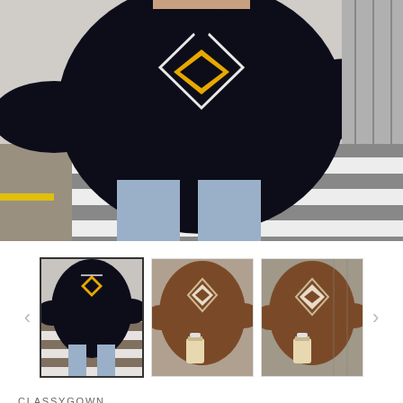[Figure (photo): Main product photo: person wearing a black argyle knit sweater with yellow and white diamond pattern, standing at a crosswalk/zebra crossing, wearing light blue jeans. Urban outdoor setting.]
[Figure (photo): Thumbnail 1 (selected): same black argyle sweater on person at crosswalk, smaller view]
[Figure (photo): Thumbnail 2: brown argyle sweater with white/cream diamond pattern, person holding drink]
[Figure (photo): Thumbnail 3: brown argyle sweater similar to thumbnail 2, slightly different angle]
CLASSYGOWN
Knit Sweaters Women Pullover Sweater Top Lingge